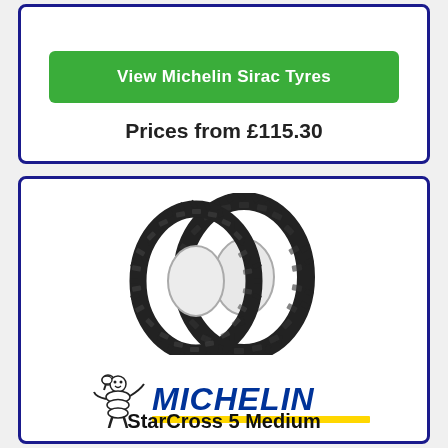View Michelin Sirac Tyres
Prices from £115.30
[Figure (photo): Two off-road/motocross tyres (Michelin StarCross 5 Medium) shown side by side with aggressive knobby tread pattern]
[Figure (logo): Michelin logo with Bibendum (Michelin Man) mascot waving, MICHELIN text in blue italic bold, yellow underline bar]
StarCross 5 Medium